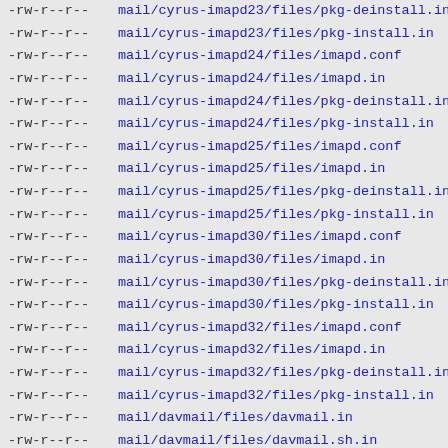-rw-r--r--  mail/cyrus-imapd23/files/pkg-deinstall.in
-rw-r--r--  mail/cyrus-imapd23/files/pkg-install.in
-rw-r--r--  mail/cyrus-imapd24/files/imapd.conf
-rw-r--r--  mail/cyrus-imapd24/files/imapd.in
-rw-r--r--  mail/cyrus-imapd24/files/pkg-deinstall.in
-rw-r--r--  mail/cyrus-imapd24/files/pkg-install.in
-rw-r--r--  mail/cyrus-imapd25/files/imapd.conf
-rw-r--r--  mail/cyrus-imapd25/files/imapd.in
-rw-r--r--  mail/cyrus-imapd25/files/pkg-deinstall.in
-rw-r--r--  mail/cyrus-imapd25/files/pkg-install.in
-rw-r--r--  mail/cyrus-imapd30/files/imapd.conf
-rw-r--r--  mail/cyrus-imapd30/files/imapd.in
-rw-r--r--  mail/cyrus-imapd30/files/pkg-deinstall.in
-rw-r--r--  mail/cyrus-imapd30/files/pkg-install.in
-rw-r--r--  mail/cyrus-imapd32/files/imapd.conf
-rw-r--r--  mail/cyrus-imapd32/files/imapd.in
-rw-r--r--  mail/cyrus-imapd32/files/pkg-deinstall.in
-rw-r--r--  mail/cyrus-imapd32/files/pkg-install.in
-rw-r--r--  mail/davmail/files/davmail.in
-rw-r--r--  mail/davmail/files/davmail.sh.in
-rw-r--r--  mail/dbmail/files/dbmail-imapd.in
-rw-r--r--  mail/dbmail/files/dbmail-lmtpd.in
-rw-r--r--  mail/dbmail/files/dbmail-pop3d.in
-rw-r--r--  mail/dbmail/files/dbmail-timsieved.in